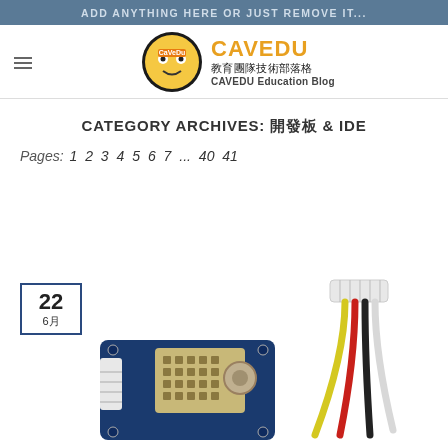ADD ANYTHING HERE OR JUST REMOVE IT...
[Figure (logo): CAVEDU Education Blog logo with cartoon mascot and Chinese text 教育團隊技術部落格]
CATEGORY ARCHIVES: 開發板 & IDE
Pages: 1 2 3 4 5 6 7 ... 40 41
[Figure (photo): Date box showing 22 and 6月 (June)]
[Figure (photo): Grove DHT22 temperature and humidity sensor module on blue PCB]
[Figure (photo): Four-wire connector cable with yellow, red, black wires in V shape with white connector]